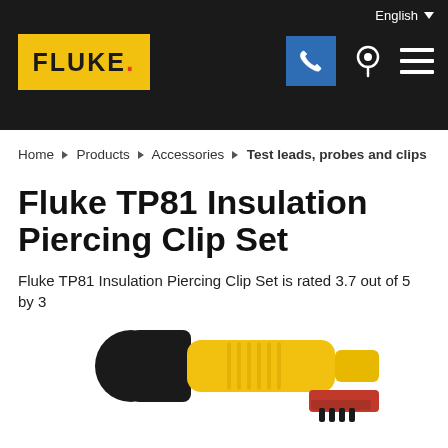English
[Figure (logo): Fluke logo (yellow background with FLUKE. text) and navigation icons including phone, location pin, and hamburger menu on dark background]
Home ▶ Products ▶ Accessories ▶ Test leads, probes and clips
Fluke TP81 Insulation Piercing Clip Set
Fluke TP81 Insulation Piercing Clip Set is rated 3.7 out of 5 by 3
[Figure (photo): Partial photo of Fluke TP81 Insulation Piercing Clip — yellow body with black tip, showing the clip tool from the side]